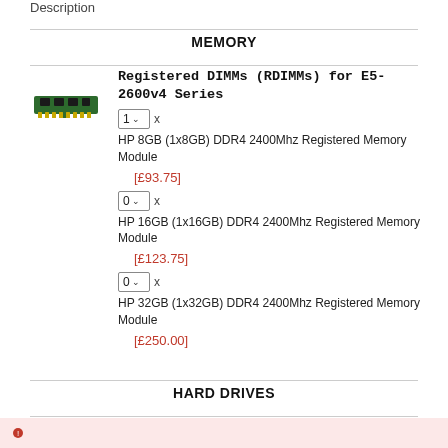MEMORY
[Figure (photo): Green RAM stick / memory module image]
Registered DIMMs (RDIMMs) for E5-2600v4 Series
1 x HP 8GB (1x8GB) DDR4 2400Mhz Registered Memory Module
[£93.75]
0 x HP 16GB (1x16GB) DDR4 2400Mhz Registered Memory Module
[£123.75]
0 x HP 32GB (1x32GB) DDR4 2400Mhz Registered Memory Module
[£250.00]
HARD DRIVES